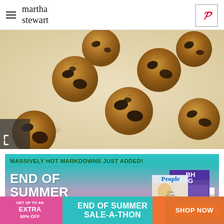martha stewart
[Figure (photo): Overhead view of chocolate chip cookies scattered on white parchment paper, showing golden-brown cookies with large chocolate chunks]
[Figure (infographic): Advertisement banner: 'MASSIVELY HOT MARKDOWNS JUST ADDED!' with 'END OF SUMMER SALE-A-THON' text in white, featuring magazine covers (People, BHG, Southern Living, allrecipes) stacked on right side. Background transitions from teal to purple/pink.]
[Figure (infographic): Bottom sticky advertisement bar: Left pink section 'GET UP TO AN EXTRA 50% OFF', center teal section 'END OF SUMMER SALE-A-THON', right orange section 'SHOP NOW' button]